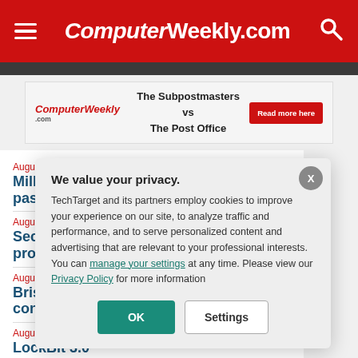ComputerWeekly.com
[Figure (infographic): Advertisement banner: The Subpostmasters vs The Post Office - Read more here, with ComputerWeekly.com logo]
August 25, 2022
Millions of [truncated] password b[truncated]
August 25, 202[2]
Security pr[truncated] promotion [truncated]
August 25, 202[2]
Bristow tak[truncated] connectivit[truncated]
August 25, 202[2]
LockBit 3.0[truncated]
We value your privacy. TechTarget and its partners employ cookies to improve your experience on our site, to analyze traffic and performance, and to serve personalized content and advertising that are relevant to your professional interests. You can manage your settings at any time. Please view our Privacy Policy for more information